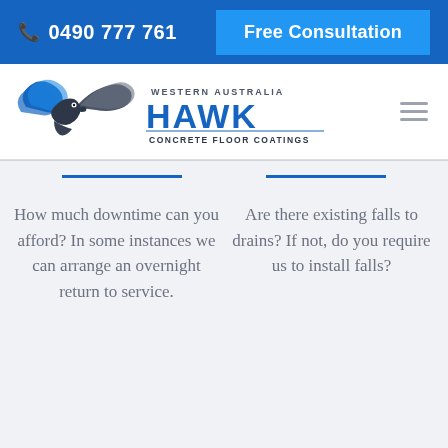📞 0490 777 761   Free Consultation
[Figure (logo): Western Australia Hawk Concrete Floor Coatings logo with eagle/hawk graphic in blue and grey]
How much downtime can you afford? In some instances we can arrange an overnight return to service.
Are there existing falls to drains? If not, do you require us to install falls?